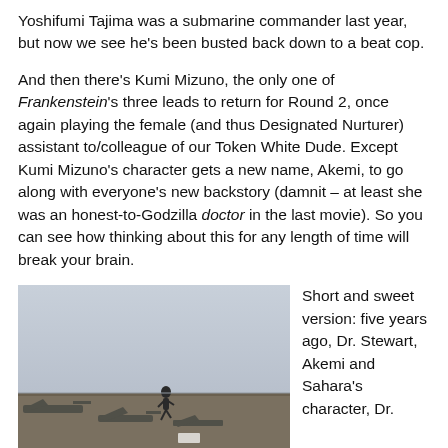Yoshifumi Tajima was a submarine commander last year, but now we see he's been busted back down to a beat cop.
And then there's Kumi Mizuno, the only one of Frankenstein's three leads to return for Round 2, once again playing the female (and thus Designated Nurturer) assistant to/colleague of our Token White Dude. Except Kumi Mizuno's character gets a new name, Akemi, to go along with everyone's new backstory (damnit – at least she was an honest-to-Godzilla doctor in the last movie). So you can see how thinking about this for any length of time will break your brain.
[Figure (photo): A man running on an aircraft carrier flight deck with planes visible below and a hazy sky.]
"Weather at the airport today, cloudy with a chance of man
Short and sweet version: five years ago, Dr. Stewart, Akemi and Sahara's character, Dr.